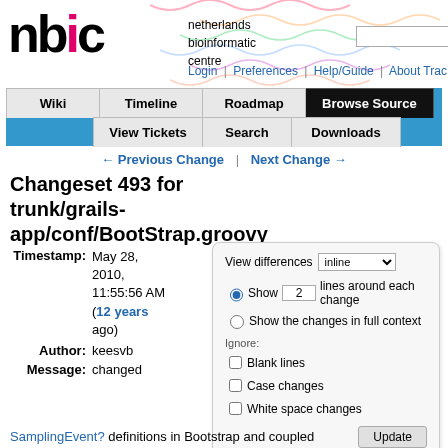netherlands bioinformatic centre | Login | Preferences | Help/Guide | About Trac
[Figure (screenshot): Navigation tabs: Wiki, Timeline, Roadmap, Browse Source (active), View Tickets, Search, Downloads]
← Previous Change | Next Change →
Changeset 493 for trunk/grails-app/conf/BootStrap.groovy
Timestamp: May 28, 2010, 11:55:56 AM (12 years ago)
Author: keesvb
Message: changed
[Figure (screenshot): View differences panel: inline dropdown, Show 2 lines around each change (radio selected), Show the changes in full context (radio), Ignore: Blank lines checkbox, Case changes checkbox, White space changes checkbox, Update button]
SamplingEvent? definitions in Bootstrap and coupled